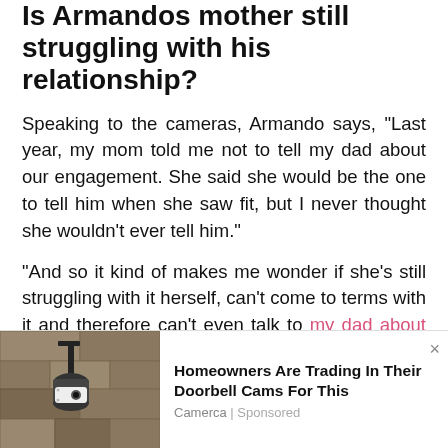Is Armandos mother still struggling with his relationship?
Speaking to the cameras, Armando says, “Last year, my mom told me not to tell my dad about our engagement. She said she would be the one to tell him when she saw fit, but I never thought she wouldn’t ever tell him.”
“And so it kind of makes me wonder if she’s still struggling with it herself, can’t come to terms with it and therefore can’t even talk to my dad about it.”
Readers can watch the full teaser clip on People’s
[Figure (screenshot): Advertisement banner showing a security camera mounted on a stone wall, with headline 'Homeowners Are Trading In Their Doorbell Cams For This', source 'Camerca | Sponsored', and a close (x) button.]